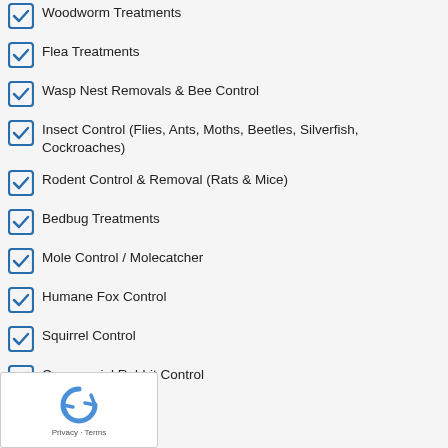Woodworm Treatments
Flea Treatments
Wasp Nest Removals & Bee Control
Insect Control (Flies, Ants, Moths, Beetles, Silverfish, Cockroaches)
Rodent Control & Removal (Rats & Mice)
Bedbug Treatments
Mole Control / Molecatcher
Humane Fox Control
Squirrel Control
Commercial Rabbit Control
High Access Works
Decontamination Works
Unusual Pest Works